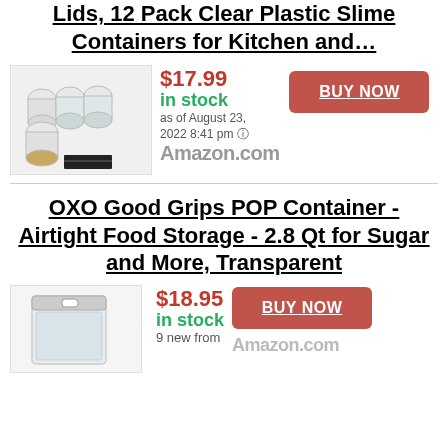Lids, 12 Pack Clear Plastic Slime Containers for Kitchen and…
[Figure (photo): Product image of 12 pack clear plastic containers with black labels]
$17.99 in stock as of August 23, 2022 8:41 pm ℹ Amazon.com
BUY NOW
OXO Good Grips POP Container - Airtight Food Storage - 2.8 Qt for Sugar and More, Transparent
[Figure (photo): Product image of OXO Good Grips POP Container transparent]
$18.95 in stock 9 new from Amazon.com
BUY NOW